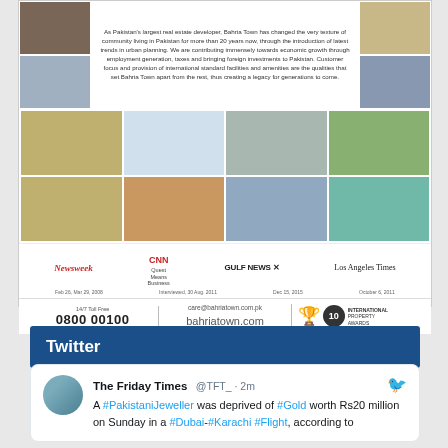[Figure (photo): Bahria Town advertisement showing property photos in a grid layout with media logos (Newsweek, CNN, Gulf News, Los Angeles Times), contact information (0800 00100, care@bahriatown.com.pk, bahriatown.com), and International Property Awards logo.]
Twitter
The Friday Times @TFT_ · 2m
A #PakistaniJeweller was deprived of #Gold worth Rs20 million on Sunday in a #Dubai-#Karachi #Flight, according to